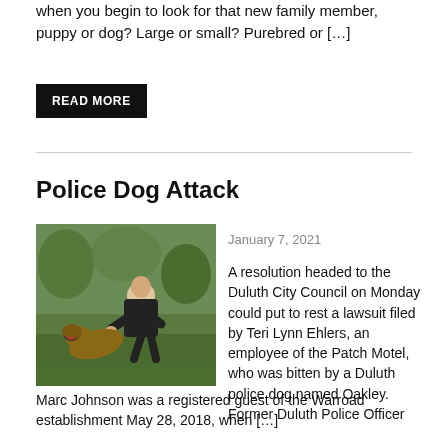when you begin to look for that new family member, puppy or dog? Large or small? Purebred or […]
READ MORE
Police Dog Attack
[Figure (photo): A police officer in uniform crouching down interacting with a German Shepherd dog outdoors on grass.]
January 7, 2021
A resolution headed to the Duluth City Council on Monday could put to rest a lawsuit filed by Teri Lynn Ehlers, an employee of the Patch Motel, who was bitten by a Duluth police dog named Oakley. Former Duluth Police Officer Marc Johnson was a registered guest of the Warroad establishment May 28, 2018, when […]